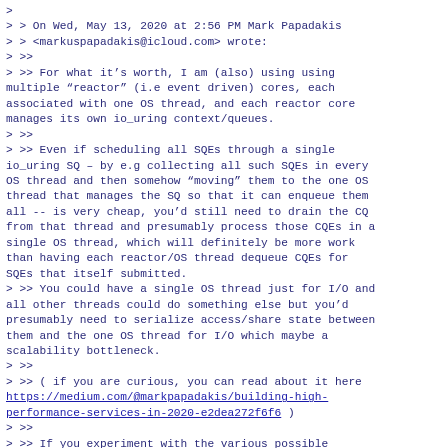>
> > On Wed, May 13, 2020 at 2:56 PM Mark Papadakis
> > <markuspapadakis@icloud.com> wrote:
> >>
> >> For what it's worth, I am (also) using using
multiple “reactor” (i.e event driven) cores, each
associated with one OS thread, and each reactor core
manages its own io_uring context/queues.
> >>
> >> Even if scheduling all SQEs through a single
io_uring SQ – by e.g collecting all such SQEs in every
OS thread and then somehow “moving” them to the one OS
thread that manages the SQ so that it can enqueue them
all -- is very cheap, you’d still need to drain the CQ
from that thread and presumably process those CQEs in a
single OS thread, which will definitely be more work
than having each reactor/OS thread dequeue CQEs for
SQEs that itself submitted.
> >> You could have a single OS thread just for I/O and
all other threads could do something else but you’d
presumably need to serialize access/share state between
them and the one OS thread for I/O which maybe a
scalability bottleneck.
> >>
> >> ( if you are curious, you can read about it here
https://medium.com/@markpapadakis/building-high-performance-services-in-2020-e2dea272f6f6 )
> >>
> >> If you experiment with the various possible
designs though, I’d love it if you were to share your
findings